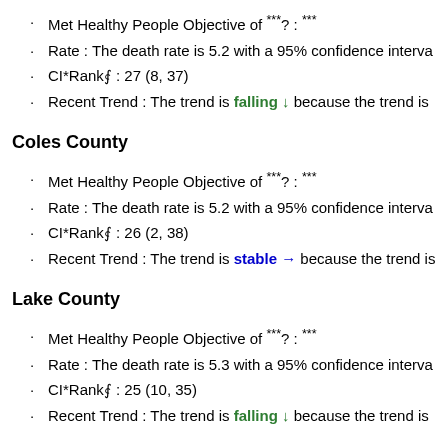Met Healthy People Objective of ***? : ***
Rate : The death rate is 5.2 with a 95% confidence interva
CI*Rank⋒ : 27 (8, 37)
Recent Trend : The trend is falling ↓ because the trend is
Coles County
Met Healthy People Objective of ***? : ***
Rate : The death rate is 5.2 with a 95% confidence interva
CI*Rank⋒ : 26 (2, 38)
Recent Trend : The trend is stable → because the trend is
Lake County
Met Healthy People Objective of ***? : ***
Rate : The death rate is 5.3 with a 95% confidence interva
CI*Rank⋒ : 25 (10, 35)
Recent Trend : The trend is falling ↓ because the trend is
Knox County